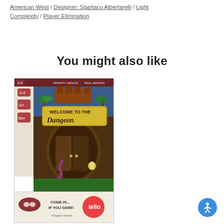American West / Designer: Spartaco Albertarelli / Light Complexity / Player Elimination
You might also like
[Figure (photo): Board game box cover for 'Welcome to the Dungeon' by iello games, showing a dungeon entrance with cartoon artwork. Bottom of box reads 'COME IN... IF YOU DARE!']